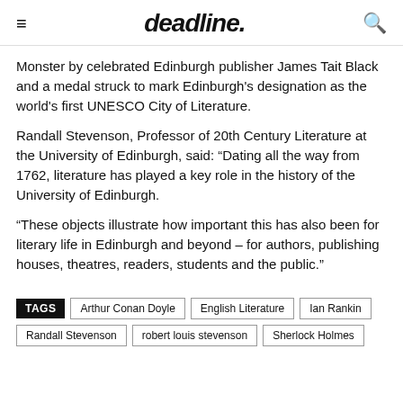deadline.
Monster by celebrated Edinburgh publisher James Tait Black and a medal struck to mark Edinburgh's designation as the world's first UNESCO City of Literature.
Randall Stevenson, Professor of 20th Century Literature at the University of Edinburgh, said: “Dating all the way from 1762, literature has played a key role in the history of the University of Edinburgh.
“These objects illustrate how important this has also been for literary life in Edinburgh and beyond – for authors, publishing houses, theatres, readers, students and the public.”
TAGS  Arthur Conan Doyle  English Literature  Ian Rankin  Randall Stevenson  robert louis stevenson  Sherlock Holmes